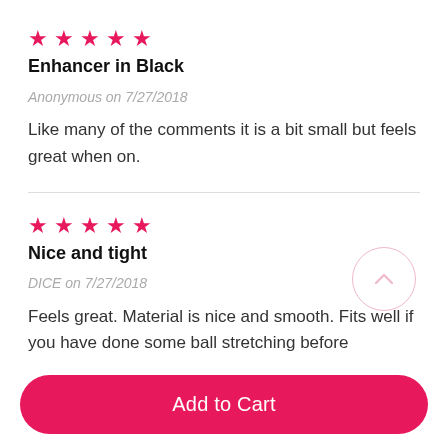[Figure (other): Five pink star rating icons]
Enhancer in Black
Anonymous on 7/27/2018
Like many of the comments it is a bit small but feels great when on.
[Figure (other): Five pink star rating icons]
Nice and tight
DICE on 7/27/2018
Feels great. Material is nice and smooth. Fits well if you have done some ball stretching before
Add to Cart